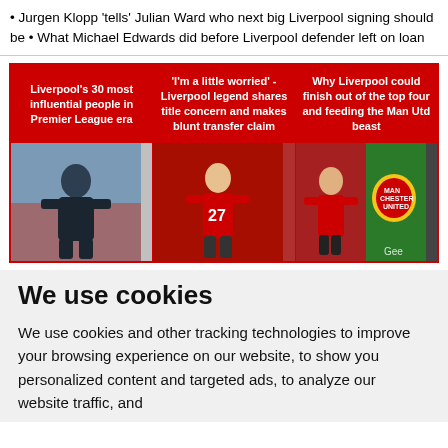• Jurgen Klopp 'tells' Julian Ward who next big Liverpool signing should be • What Michael Edwards did before Liverpool defender left on loan
[Figure (screenshot): Three article cards with red headers. Card 1: 'Liverpool's 30 most influential people in Premier League era' with player in dark jersey. Card 2: ''I'm a little worried' - Liverpool legend shares title concern and makes blunt transfer claim' with player in red jersey #27. Card 3: 'Why Liverpool could finish out of the top four and feeding the Man Utd beast' with player and Manchester United badge.]
We use cookies
We use cookies and other tracking technologies to improve your browsing experience on our website, to show you personalized content and targeted ads, to analyze our website traffic, and